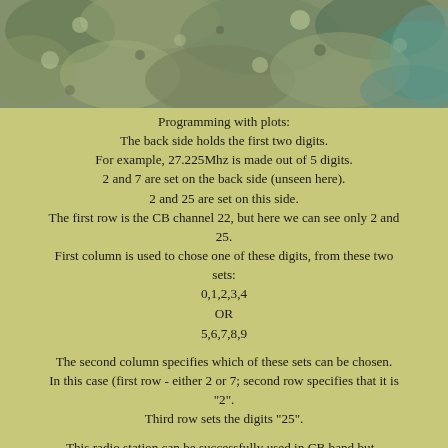[Figure (photo): Blurry close-up photograph of foliage or natural ground cover with muted green, grey, and teal tones, occupying the top portion of the page.]
Programming with plots:
The back side holds the first two digits.
For example, 27.225Mhz is made out of 5 digits.
2 and 7 are set on the back side (unseen here).
2 and 25 are set on this side.
The first row is the CB channel 22, but here we can see only 2 and 25.
First column is used to chose one of these digits, from these two sets:
0,1,2,3,4
OR
5,6,7,8,9
The second column specifies which of these sets can be chosen.
In this case (first row - either 2 or 7; second row specifies that it is "2".
Third row sets the digits "25".
This radio station can be successfully used in CB band but -
because of these restrictive programming features,